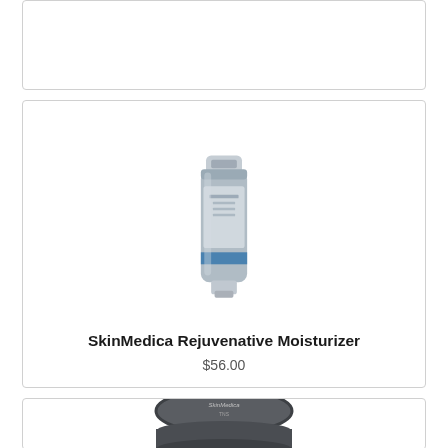[Figure (other): Partially visible product card at top of page]
[Figure (photo): SkinMedica Rejuvenative Moisturizer tube product image on light background]
SkinMedica Rejuvenative Moisturizer
$56.00
[Figure (photo): SkinMedica product jar/container – partially visible at bottom of page]